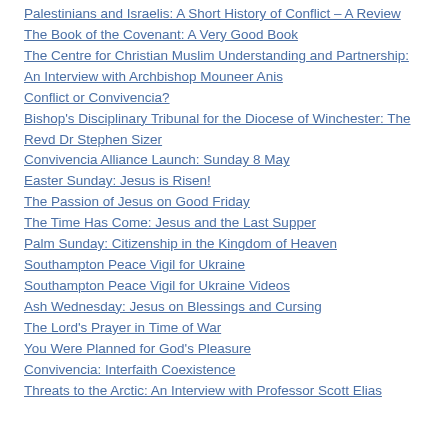Palestinians and Israelis: A Short History of Conflict – A Review
The Book of the Covenant: A Very Good Book
The Centre for Christian Muslim Understanding and Partnership: An Interview with Archbishop Mouneer Anis
Conflict or Convivencia?
Bishop's Disciplinary Tribunal for the Diocese of Winchester: The Revd Dr Stephen Sizer
Convivencia Alliance Launch: Sunday 8 May
Easter Sunday: Jesus is Risen!
The Passion of Jesus on Good Friday
The Time Has Come: Jesus and the Last Supper
Palm Sunday: Citizenship in the Kingdom of Heaven
Southampton Peace Vigil for Ukraine
Southampton Peace Vigil for Ukraine Videos
Ash Wednesday: Jesus on Blessings and Cursing
The Lord's Prayer in Time of War
You Were Planned for God's Pleasure
Convivencia: Interfaith Coexistence
Threats to the Arctic: An Interview with Professor Scott Elias